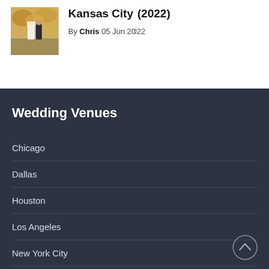[Figure (photo): Thumbnail photo of a couple at a wedding ceremony outdoors with autumn/fall foliage in the background]
Kansas City (2022)
By Chris 05 Jun 2022
Wedding Venues
Chicago
Dallas
Houston
Los Angeles
New York City